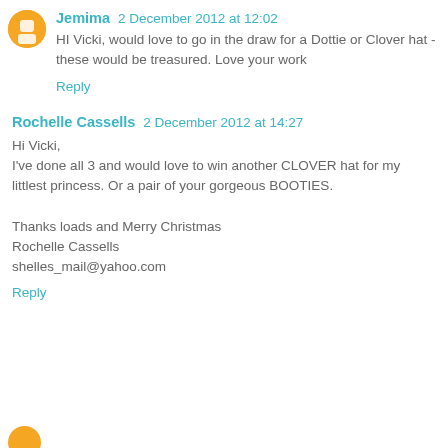Jemima  2 December 2012 at 12:02
HI Vicki, would love to go in the draw for a Dottie or Clover hat - these would be treasured. Love your work
Reply
Rochelle Cassells  2 December 2012 at 14:27
Hi Vicki,
I've done all 3 and would love to win another CLOVER hat for my littlest princess. Or a pair of your gorgeous BOOTIES.

Thanks loads and Merry Christmas
Rochelle Cassells
shelles_mail@yahoo.com
Reply